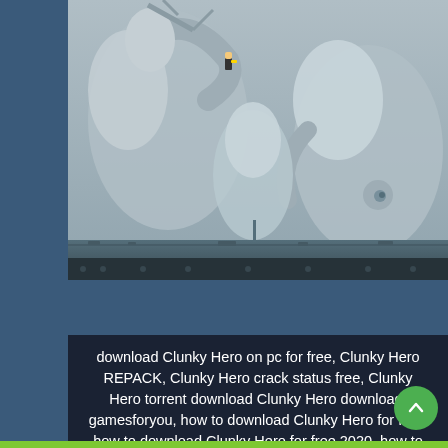[Figure (screenshot): Screenshot of a video game (Clunky Hero) showing a small character on a large alien/fantasy sculpture landscape with grey-blue creatures and branches in a side-scrolling platformer style.]
download Clunky Hero on pc for free, Clunky Hero REPACK, Clunky Hero crack status free, Clunky Hero torrent download Clunky Hero download, gamesforyou, how to download Clunky Hero for free, how to download Clunky Hero for free 2020, how to get Clunky Hero, how to get Clunky Hero for free, how to get Clunky Hero free, Clunky Hero, Clunky Hero crack